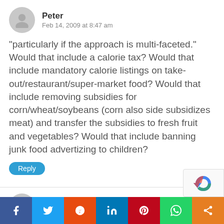Peter
Feb 14, 2009 at 8:47 am
“particularly if the approach is multi-faceted.” Would that include a calorie tax? Would that include mandatory calorie listings on take-out/restaurant/super-market food? Would that include removing subsidies for corn/wheat/soybeans (corn also side subsidizes meat) and transfer the subsidies to fresh fruit and vegetables? Would that include banning junk food advertizing to children?
Reply
Deron S.
Feb 14, 2009 at 5:14 am